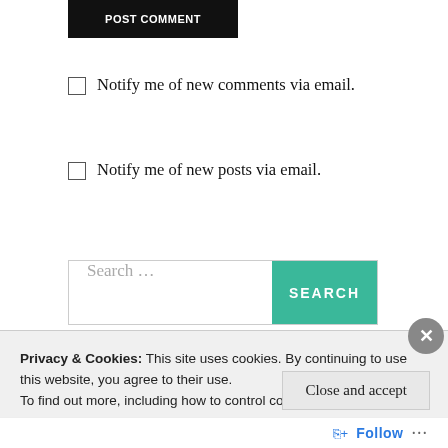[Figure (screenshot): Black 'Post Comment' button at top]
Notify me of new comments via email.
Notify me of new posts via email.
[Figure (screenshot): Search input field with teal SEARCH button]
Advertisements
Privacy & Cookies: This site uses cookies. By continuing to use this website, you agree to their use.
To find out more, including how to control cookies, see here: Cookie Policy
Close and accept
Follow